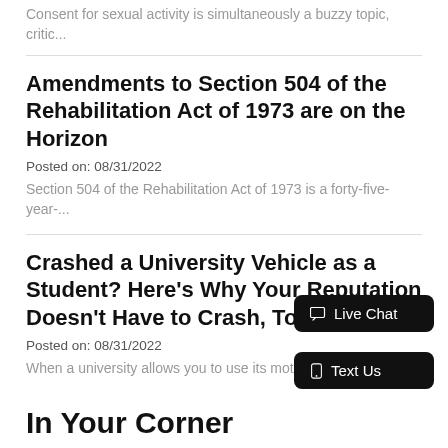Consent for sexual activity is simultaneously a buzzy topic, critic...
Amendments to Section 504 of the Rehabilitation Act of 1973 are on the Horizon
Posted on: 08/31/2022
Section 504 of the Rehabilitation Act of 1973 is a forty-five-year-...
Crashed a University Vehicle as a Student? Here’s Why Your Reputation Doesn’t Have to Crash, Too
Posted on: 08/31/2022
When a university allows you to use its motor... surely d...
Live Chat
Text Us
In Your Corner